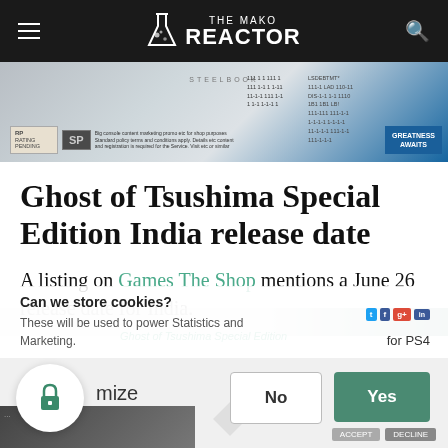The Mako Reactor
[Figure (screenshot): Ghost of Tsushima Steelbook Special Edition product banner image with ratings badge, SP logo, and Greatness Awaits branding]
Ghost of Tsushima Special Edition India release date
A listing on Games The Shop mentions a June 26 release date for India.
Can we store cookies?
These will be used to power Statistics and Marketing.
for PS4
mize
No
Yes